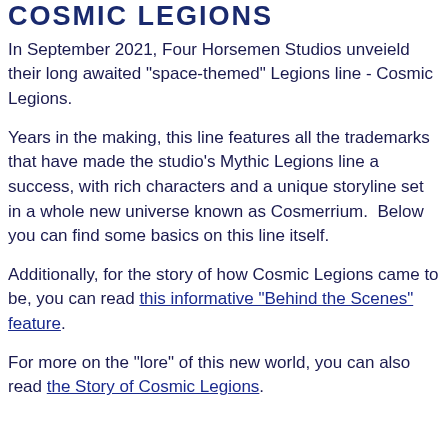COSMIC LEGIONS
In September 2021, Four Horsemen Studios unveield their long awaited "space-themed" Legions line - Cosmic Legions.
Years in the making, this line features all the trademarks that have made the studio's Mythic Legions line a success, with rich characters and a unique storyline set in a whole new universe known as Cosmerrium.  Below you can find some basics on this line itself.
Additionally, for the story of how Cosmic Legions came to be, you can read this informative "Behind the Scenes" feature.
For more on the "lore" of this new world, you can also read the Story of Cosmic Legions.